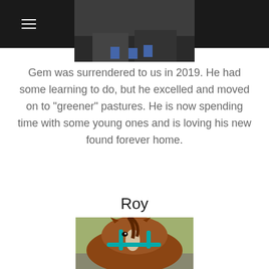(303) 522-8810
[Figure (photo): Partial photo of a horse (Gem) at the top of the page, dark background]
Gem was surrendered to us in 2019. He had some learning to do, but he excelled and moved on to "greener" pastures. He is now spending time with some young ones and is loving his new found forever home.
Roy
[Figure (photo): Close-up photo of a brown horse named Roy wearing a teal/turquoise halter]